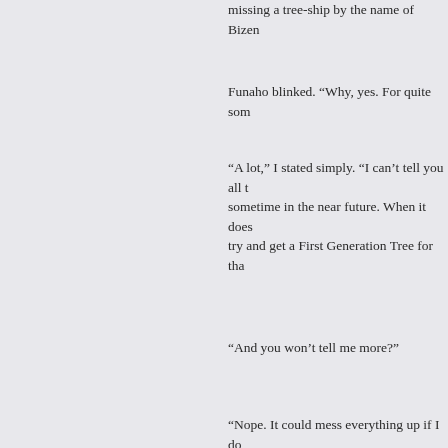missing a tree-ship by the name of Bizen
Funaho blinked. “Why, yes. For quite som
“A lot,” I stated simply. “I can't tell you all t sometime in the near future. When it does try and get a First Generation Tree for tha
“And you won't tell me more?”
“Nope. It could mess everything up if I do
“And there's no promises I can make?”
I sighed. “Milady... please don't take this a Juraians is that they tend to be a little cap centuries, and any loopholes I unknowing That, and I don't know you quite well eno
Funaho smiled. “And it seems that I am d
I blinked. “Oh, referring to when you tried ohkis?”
“You're every bit as shrewd as she is.”